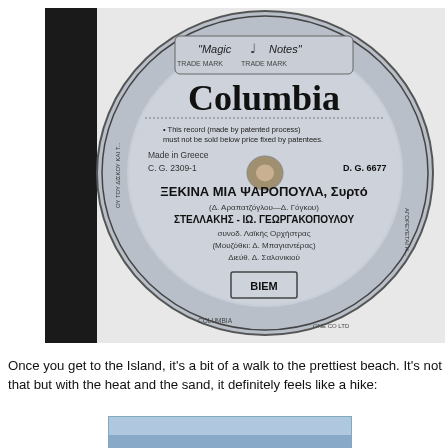[Figure (photo): Photo of a Columbia 'Magic Notes' record label. The label is light grey/blue. It shows the Columbia logo in large bold letters, a musical note graphic with 'Magic Notes' trade mark text. Text on the label reads: 'This record (made by patented process) must not be sold below price fixed by patentees. Made in Greece. C.G. 2309-1. D.G. 6677. ΞΕΚΙΝΑ ΜΙΑ ΨΑΡΟΠΟΥΛΑ, Συρτό. (Δ. Αραπατζόγλου—Δ. Γόγκου). ΣΤΕΛΛΑΚΗΣ - ΙΩ. ΓΕΩΡΓΑΚΟΠΟΥΛΟΥ. συνοδ. Λαϊκής Ορχήστρας. (Μουζόθκι: Δ. Μπαγιαντέρας). Διεύθ. Δ. Σαλονικιού. BIEM. COLUMBIA.' A black bar is partially overlapping the left side of the record image.]
Once you get to the Island, it's a bit of a walk to the prettiest beach. It's not that but with the heat and the sand, it definitely feels like a hike:
[Figure (photo): Partial view of a beach or water scene, blue tones, cropped at bottom of page.]